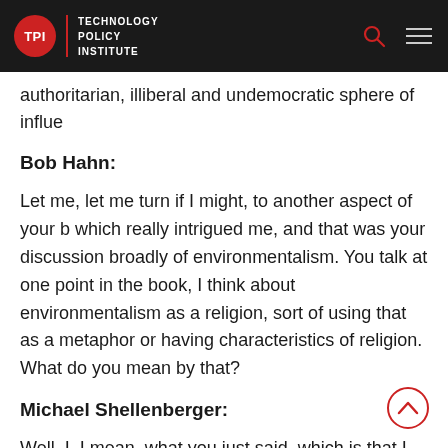TPI | TECHNOLOGY POLICY INSTITUTE
authoritarian, illiberal and undemocratic sphere of influe
Bob Hahn:
Let me, let me turn if I might, to another aspect of your b which really intrigued me, and that was your discussion broadly of environmentalism. You talk at one point in the book, I think about environmentalism as a religion, sort of using that as a metaphor or having characteristics of religion. What do you mean by that?
Michael Shellenberger:
Well, I, I mean, what you just said, which is that I think that environmentalism is becoming the new religion of elites,